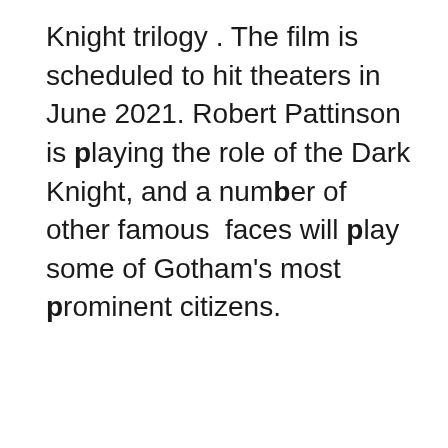Knight trilogy . The film is scheduled to hit theaters in June 2021. Robert Pattinson is playing the role of the Dark Knight, and a number of other famous  faces will play some of Gotham's most prominent citizens.